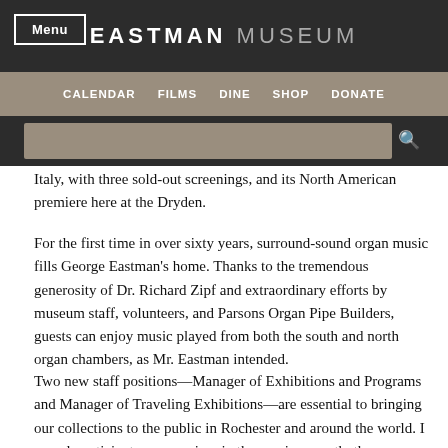EASTMAN MUSEUM
CALENDAR  FILMS  DINE  SHOP  DONATE
Italy, with three sold-out screenings, and its North American premiere here at the Dryden.
For the first time in over sixty years, surround-sound organ music fills George Eastman's home. Thanks to the tremendous generosity of Dr. Richard Zipf and extraordinary efforts by museum staff, volunteers, and Parsons Organ Pipe Builders, guests can enjoy music played from both the south and north organ chambers, as Mr. Eastman intended.
Two new staff positions—Manager of Exhibitions and Programs and Manager of Traveling Exhibitions—are essential to bringing our collections to the public in Rochester and around the world. I eagerly anticipate announcing, in the coming month, the appointment of an